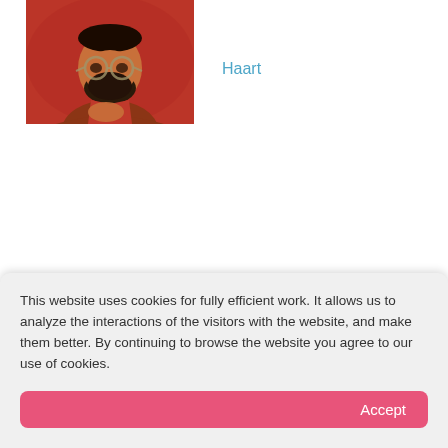[Figure (photo): Photo of a bearded man with round glasses wearing a brown jacket over a red shirt, with a red background. The person has tattoos visible on their hand.]
Haart
Bumble Beezy
This website uses cookies for fully efficient work. It allows us to analyze the interactions of the visitors with the website, and make them better. By continuing to browse the website you agree to our use of cookies.
Accept